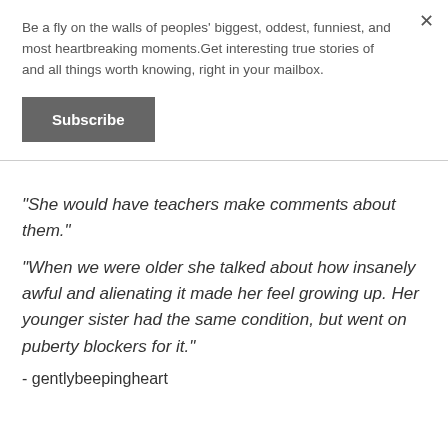Be a fly on the walls of peoples' biggest, oddest, funniest, and most heartbreaking moments.Get interesting true stories of and all things worth knowing, right in your mailbox.
Subscribe
"She would have teachers make comments about them."
"When we were older she talked about how insanely awful and alienating it made her feel growing up. Her younger sister had the same condition, but went on puberty blockers for it."
- gentlybeepingheart